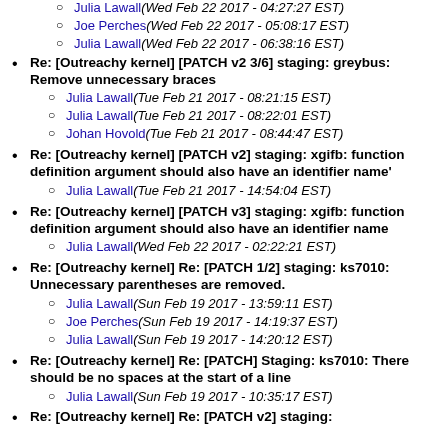Re: [Outreachy kernel] [PATCH v2 3/6] staging: greybus: Remove unnecessary braces
Re: [Outreachy kernel] [PATCH v2] staging: xgifb: function definition argument should also have an identifier name'
Re: [Outreachy kernel] [PATCH v3] staging: xgifb: function definition argument should also have an identifier name
Re: [Outreachy kernel] Re: [PATCH 1/2] staging: ks7010: Unnecessary parentheses are removed.
Re: [Outreachy kernel] Re: [PATCH] Staging: ks7010: There should be no spaces at the start of a line
Re: [Outreachy kernel] Re: [PATCH v2] staging: